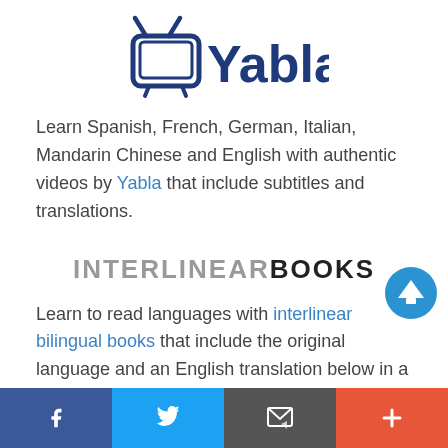[Figure (logo): Yabla logo: TV icon with antenna and the word Yabla in dark blue]
Learn Spanish, French, German, Italian, Mandarin Chinese and English with authentic videos by Yabla that include subtitles and translations.
[Figure (logo): INTERLINEARBOOKS logo in two-tone text: INTERLINEAR in gray, BOOKS in black, all uppercase]
Learn to read languages with interlinear bilingual books that include the original language and an English translation below in a smaller font.